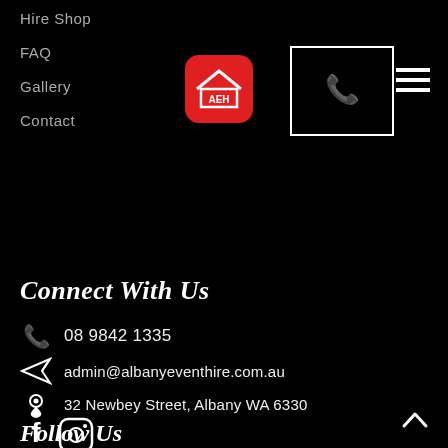Hire Shop
FAQ
Gallery
Contact
[Figure (logo): AEH Albany Event Hire red logo with house icon]
[Figure (other): Phone call button with white telephone icon in bordered box]
[Figure (other): Hamburger menu icon with three horizontal lines]
Connect With Us
08 9842 1335
admin@albanyeventhire.com.au
32 Newbey Street, Albany WA 6330
Follow Us
[Figure (other): Facebook icon (f)]
[Figure (other): Instagram icon (camera)]